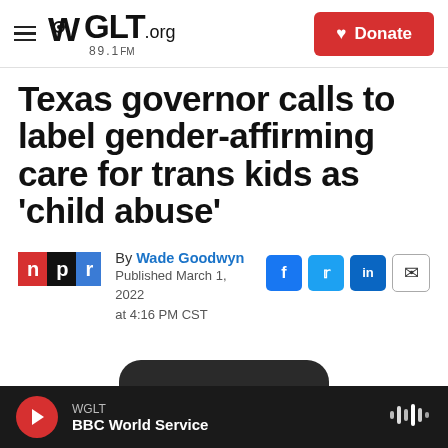WGLT.org 89.1FM | Donate
Texas governor calls to label gender-affirming care for trans kids as 'child abuse'
By Wade Goodwyn
Published March 1, 2022 at 4:16 PM CST
WGLT BBC World Service